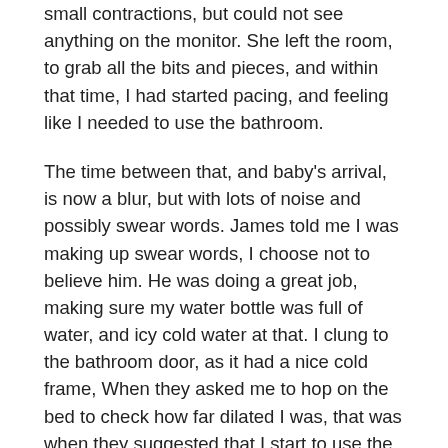small contractions, but could not see anything on the monitor. She left the room, to grab all the bits and pieces, and within that time, I had started pacing, and feeling like I needed to use the bathroom.
The time between that, and baby's arrival, is now a blur, but with lots of noise and possibly swear words. James told me I was making up swear words, I choose not to believe him. He was doing a great job, making sure my water bottle was full of water, and icy cold water at that. I clung to the bathroom door, as it had a nice cold frame, When they asked me to hop on the bed to check how far dilated I was, that was when they suggested that I start to use the gas. I'm still not sure if the gas actually helped, but it was nice to be able to bite down on the plastic to ride through the contractions.
Bubs arrived around 12:47pm, with the help of forceps. She was looking the wrong way and needed assistance to turn to get down the last little bit. This 'help' left me a little bit sore